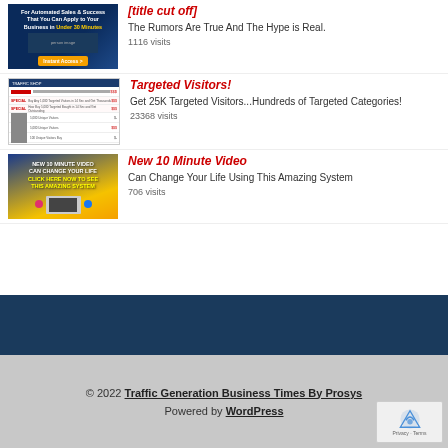[Figure (screenshot): Banner ad with blue background showing automated sales system - Instant Access button]
The Rumors Are True And The Hype is Real.
1116 visits
[Figure (screenshot): Table listing of targeted visitors products with red labels and prices]
Targeted Visitors!
Get 25K Targeted Visitors...Hundreds of Targeted Categories!
23368 visits
[Figure (screenshot): New 10 Minute Video banner with laptop and social media icons on yellow/blue background]
New 10 Minute Video
Can Change Your Life Using This Amazing System
706 visits
© 2022 Traffic Generation Business Times By Prosys · Powered by WordPress